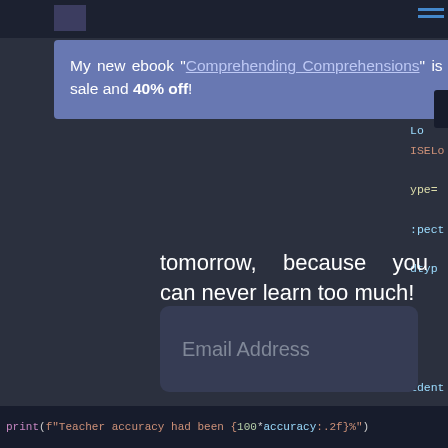[Figure (screenshot): A website screenshot showing a promotional popup overlay on a dark-themed educational coding blog. The popup advertises an ebook 'Comprehending Comprehensions' at 40% off. Below the popup is body text 'tomorrow, because you can never learn too much!', an email address input field, a 'Join 13,000 other insiders!' button, a privacy note, and at the bottom a Python code snippet: print(f"Teacher accuracy had been {100*accuracy:.2f}%"). The right side shows partially visible code with terms like ISELo, ype=, :pect, dtyp, ident.]